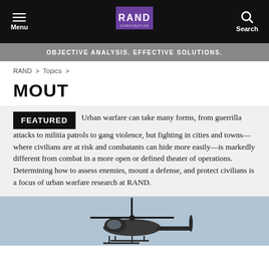RAND Corporation — Menu | Search
OBJECTIVE ANALYSIS. EFFECTIVE SOLUTIONS.
RAND > Topics >
MOUT
FEATURED
Urban warfare can take many forms, from guerrilla attacks to militia patrols to gang violence, but fighting in cities and towns—where civilians are at risk and combatants can hide more easily—is markedly different from combat in a more open or defined theater of operations. Determining how to assess enemies, mount a defense, and protect civilians is a focus of urban warfare research at RAND.
[Figure (photo): Helicopter (military) flying against a gray-blue sky, viewed from below at an angle.]